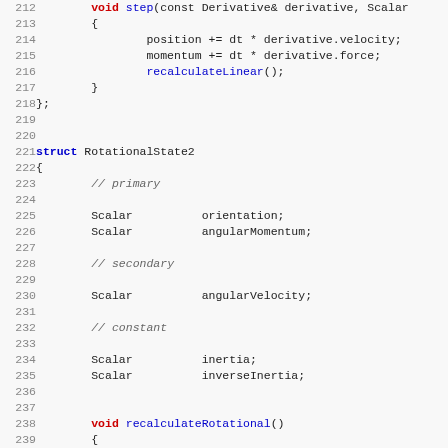[Figure (screenshot): Source code listing in C++ showing lines 212-243, including LinearState step() method and RotationalState2 struct definition with primary/secondary/constant members and recalculateRotational() method.]